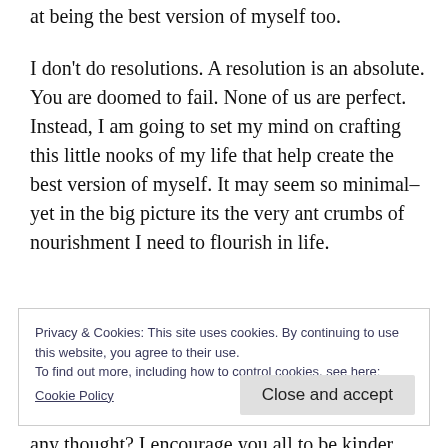at being the best version of myself too.
I don't do resolutions. A resolution is an absolute. You are doomed to fail. None of us are perfect. Instead, I am going to set my mind on crafting this little nooks of my life that help create the best version of myself. It may seem so minimal–yet in the big picture its the very ant crumbs of nourishment I need to flourish in life.
Privacy & Cookies: This site uses cookies. By continuing to use this website, you agree to their use.
To find out more, including how to control cookies, see here:
Cookie Policy
Close and accept
any thought? I encourage you all to be kinder